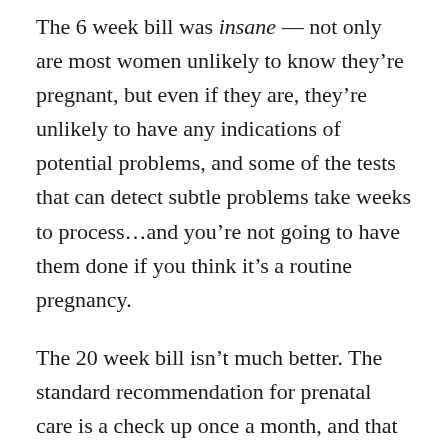The 6 week bill was insane — not only are most women unlikely to know they're pregnant, but even if they are, they're unlikely to have any indications of potential problems, and some of the tests that can detect subtle problems take weeks to process…and you're not going to have them done if you think it's a routine pregnancy.
The 20 week bill isn't much better. The standard recommendation for prenatal care is a check up once a month, and that check up is typically a simple pelvic exam and a measurement of external growth — it will detect gross problems in development but not the sneaky ones that will become apparent later. You might get one ultrasound examination, but it depends on your goddamn insurance. If you're poor or have lousy insurance, you're going to get nothing but the routine checkup, and we already know what